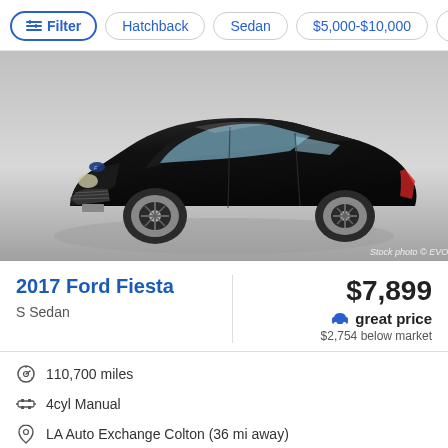Filter | Hatchback | Sedan | $5,000-$10,000
[Figure (photo): Black 2017 Ford Fiesta S Sedan, 3/4 front view on grey gradient background. Stock photo © EVOX Images.]
2017 Ford Fiesta
S Sedan
$7,899
great price
$2,754 below market
110,700 miles
4cyl Manual
LA Auto Exchange Colton (36 mi away)